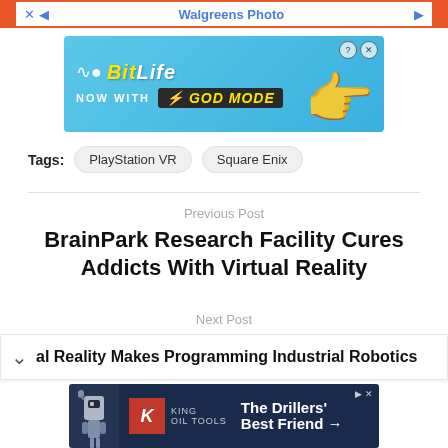[Figure (screenshot): Top advertisement bar showing Walgreens Photo ad with blue close X and arrow navigation on orange background]
[Figure (screenshot): BitLife advertisement banner: blue gradient background, BitLife logo with 'NOW WITH GOD MODE' text, pointing hand graphic, help and close buttons]
Tags: PlayStation VR   Square Enix
Previous Post
BrainPark Research Facility Cures Addicts With Virtual Reality
Next Post
al Reality Makes Programming Industrial Robotics
[Figure (screenshot): King Oil Tools advertisement: dark blue background, robot/drill image on left, King logo in red, text 'The Drillers' Best Friend →']